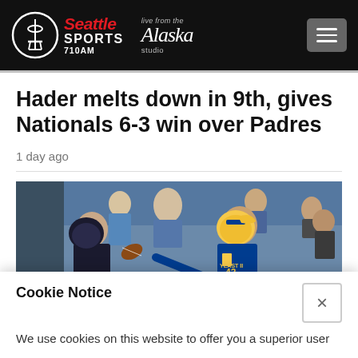Seattle Sports 710AM — Live from the Alaska studio
Hader melts down in 9th, gives Nationals 6-3 win over Padres
1 day ago
[Figure (photo): Football action photo showing a receiver and defender (YEAST II #43 in LA Rams yellow/blue uniform) competing for the ball, with sideline staff and crowd in background]
Cookie Notice
We use cookies on this website to offer you a superior user